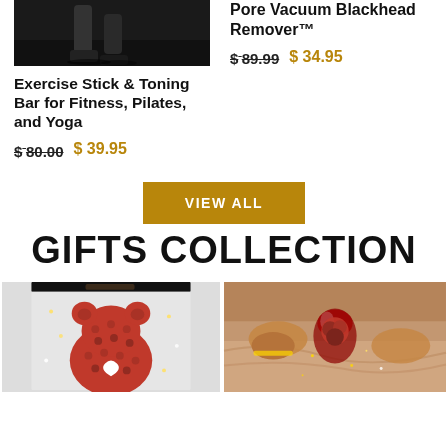[Figure (photo): Cropped photo of person's legs/feet walking on a treadmill, black and white]
Exercise Stick & Toning Bar for Fitness, Pilates, and Yoga
$ 80.00  $ 39.95
Pore Vacuum Blackhead Remover™
$ 89.99  $ 34.95
VIEW ALL
GIFTS COLLECTION
[Figure (photo): A red rose teddy bear in a clear box with fairy lights]
[Figure (photo): A person holding a rose-shaped glass with glitter, wearing jewelry]